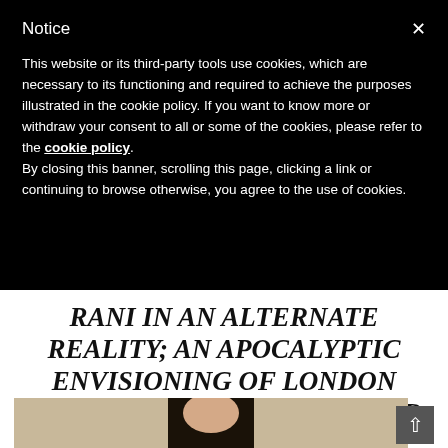Notice
This website or its third-party tools use cookies, which are necessary to its functioning and required to achieve the purposes illustrated in the cookie policy. If you want to know more or withdraw your consent to all or some of the cookies, please refer to the cookie policy. By closing this banner, scrolling this page, clicking a link or continuing to browse otherwise, you agree to the use of cookies.
RANI IN AN ALTERNATE REALITY; AN APOCALYPTIC ENVISIONING OF LONDON (EXTREMELY WELL EXECUTED, IT SHOULD BE SAID).
[Figure (photo): A person with long dark hair, partial view, in front of a blurred background.]